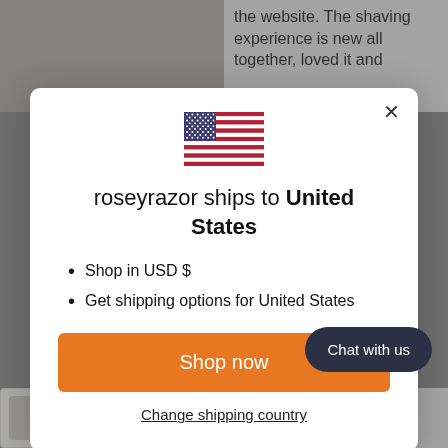[Figure (screenshot): Background of a website showing a product image on the top-left (a bottle), website review text on the top-right ('the website. The shaving experience is new all together, loved it and'), two product cards at the bottom partially visible. A modal dialog is overlaid in the center. Inside the modal: a US flag SVG, title text 'roseyrazor ships to United States', two bullet points 'Shop in USD $' and 'Get shipping options for United States', an orange 'Shop now' button, and a 'Change shipping country' link. A 'Chat with us' dark pill button appears at bottom-right.]